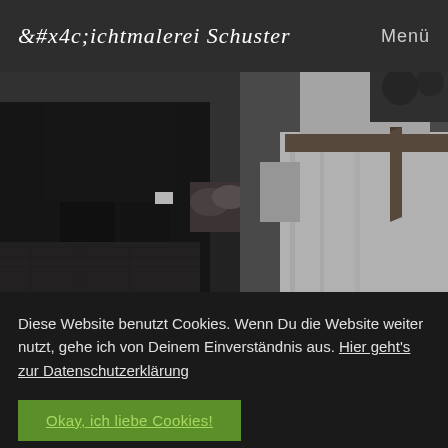Lichtmalerei Schuster    Menü
[Figure (photo): Black and white wedding photo showing a couple holding hands. The groom is in a dark suit on the left, the bride is in a white gown with a dark ribbon sash on the right.]
Diese Website benutzt Cookies. Wenn Du die Website weiter nutzt, gehe ich von Deinem Einverständnis aus. Hier geht's zur Datenschutzerklärung
Okay, ich liebe Cookies!